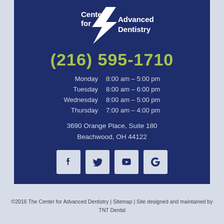[Figure (logo): Center for Advanced Dentistry logo with white text and lightning bolt graphic on dark navy background]
(216) 595-1710
| Monday | 8:00 am – 5:00 pm |
| Tuesday | 8:00 am – 6:00 pm |
| Wednesday | 8:00 am – 5:00 pm |
| Thursday | 7:00 am – 4:00 pm |
3690 Orange Place, Suite 180
Beachwood, OH 44122
[Figure (infographic): Row of four social media icons: Facebook, Twitter, YouTube, Google on light blue square backgrounds]
©2016 The Center for Advanced Dentistry | Sitemap | Site designed and maintained by TNT Dental